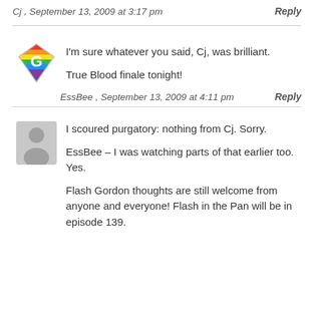Cj , September 13, 2009 at 3:17 pm    Reply
I'm sure whatever you said, Cj, was brilliant.

True Blood finale tonight!
EssBee , September 13, 2009 at 4:11 pm    Reply
I scoured purgatory: nothing from Cj. Sorry.

EssBee – I was watching parts of that earlier too. Yes.

Flash Gordon thoughts are still welcome from anyone and everyone! Flash in the Pan will be in episode 139.